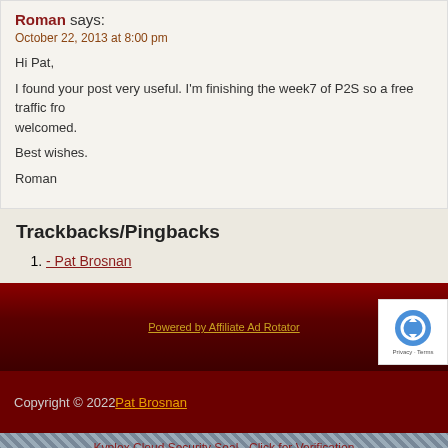Roman says:
October 22, 2013 at 8:00 pm
Hi Pat,
I found your post very useful. I'm finishing the week7 of P2S so a free traffic from welcomed.
Best wishes.
Roman
Trackbacks/Pingbacks
- Pat Brosnan
Powered by Affiliate Ad Rotator
Copyright © 2022 Pat Brosnan